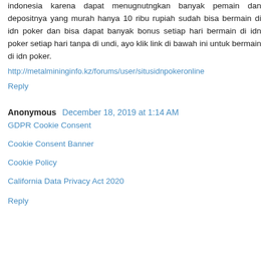indonesia karena dapat menugnutngkan banyak pemain dan depositnya yang murah hanya 10 ribu rupiah sudah bisa bermain di idn poker dan bisa dapat banyak bonus setiap hari bermain di idn poker setiap hari tanpa di undi, ayo klik link di bawah ini untuk bermain di idn poker.
http://metalmininginfo.kz/forums/user/situsidnpokeronline
Reply
Anonymous  December 18, 2019 at 1:14 AM
GDPR Cookie Consent
Cookie Consent Banner
Cookie Policy
California Data Privacy Act 2020
Reply